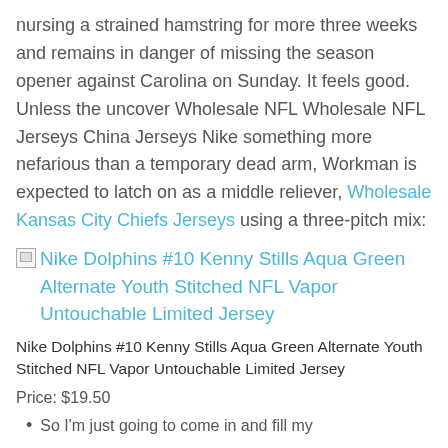nursing a strained hamstring for more three weeks and remains in danger of missing the season opener against Carolina on Sunday. It feels good. Unless the uncover Wholesale NFL Wholesale NFL Jerseys China Jerseys Nike something more nefarious than a temporary dead arm, Workman is expected to latch on as a middle reliever, Wholesale Kansas City Chiefs Jerseys using a three-pitch mix:
[Figure (other): Broken image placeholder icon]
Nike Dolphins #10 Kenny Stills Aqua Green Alternate Youth Stitched NFL Vapor Untouchable Limited Jersey (link)
Nike Dolphins #10 Kenny Stills Aqua Green Alternate Youth Stitched NFL Vapor Untouchable Limited Jersey
Price: $19.50
So I'm just going to come in and fill my